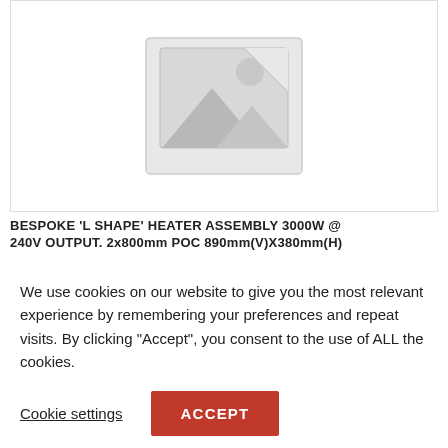[Figure (other): Placeholder image with mountain/landscape icon and sun, grey tones, representing a product image not yet available]
BESPOKE 'L SHAPE' HEATER ASSEMBLY 3000W @ 240V OUTPUT. 2x800mm POC 890mm(V)X380mm(H)
We use cookies on our website to give you the most relevant experience by remembering your preferences and repeat visits. By clicking "Accept", you consent to the use of ALL the cookies.
Cookie settings
ACCEPT